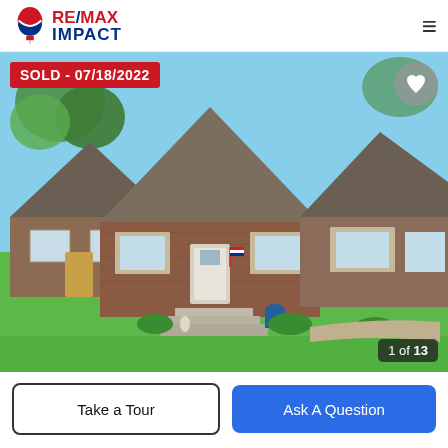[Figure (logo): RE/MAX IMPACT logo with red balloon icon]
[Figure (photo): Exterior photo of a brick bungalow home with green lawn, stone-trimmed windows, covered front porch with steps, and adjacent neighbor house. Blue sky with trees in background. Sold overlay badge reads SOLD - 07/18/2022. Heart icon button top right. Photo counter shows 1 of 13.]
SOLD - 07/18/2022
1 of 13
Take a Tour
Ask A Question